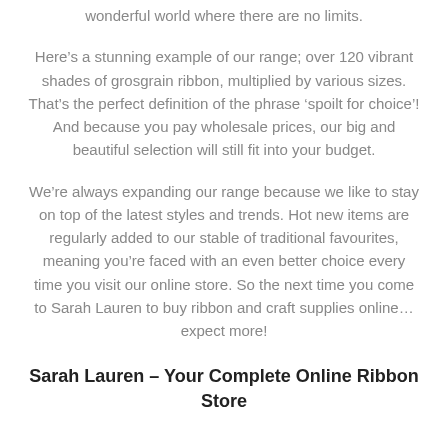wonderful world where there are no limits.
Here’s a stunning example of our range; over 120 vibrant shades of grosgrain ribbon, multiplied by various sizes. That’s the perfect definition of the phrase ‘spoilt for choice’! And because you pay wholesale prices, our big and beautiful selection will still fit into your budget.
We’re always expanding our range because we like to stay on top of the latest styles and trends. Hot new items are regularly added to our stable of traditional favourites, meaning you’re faced with an even better choice every time you visit our online store. So the next time you come to Sarah Lauren to buy ribbon and craft supplies online… expect more!
Sarah Lauren – Your Complete Online Ribbon Store